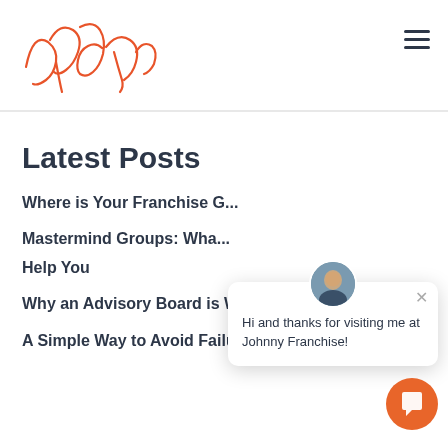[Figure (logo): Orange handwritten signature logo for Johnny Franchise]
[Figure (other): Hamburger menu icon (three horizontal lines)]
Latest Posts
Where is Your Franchise G...
Mastermind Groups: Wha... Help You
Why an Advisory Board is Well Worth the Investme...
A Simple Way to Avoid Failure as a Franchisor
[Figure (other): Chat popup widget with avatar photo and message: Hi and thanks for visiting me at Johnny Franchise!]